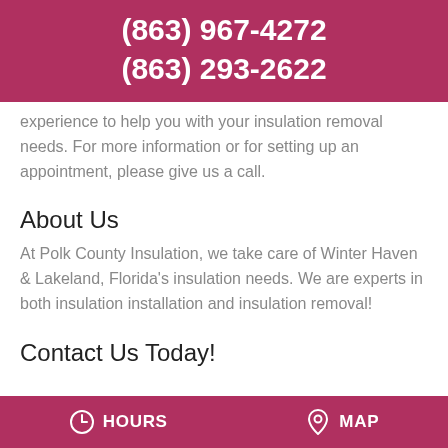(863) 967-4272
(863) 293-2622
experience to help you with your insulation removal needs. For more information or for setting up an appointment, please give us a call.
About Us
At Polk County Insulation, we take care of Winter Haven & Lakeland, Florida's insulation needs. We are experts in both insulation installation and insulation removal!
Contact Us Today!
HOURS   MAP